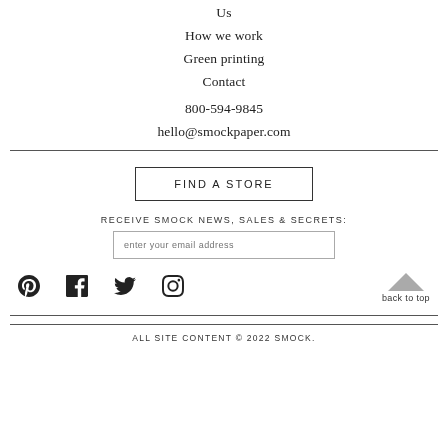Us
How we work
Green printing
Contact
800-594-9845
hello@smockpaper.com
FIND A STORE
RECEIVE SMOCK NEWS, SALES & SECRETS:
enter your email address
[Figure (infographic): Social media icons: Pinterest, Facebook, Twitter, Instagram; back to top arrow button]
ALL SITE CONTENT © 2022 SMOCK.